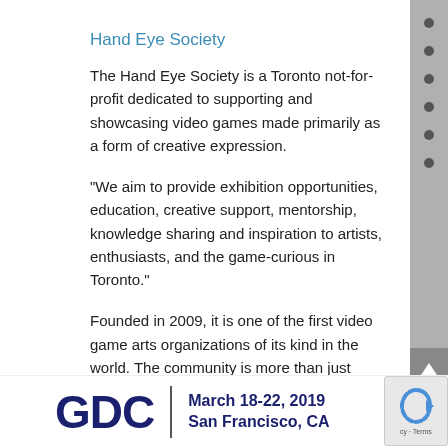Hand Eye Society
The Hand Eye Society is a Toronto not-for-profit dedicated to supporting and showcasing video games made primarily as a form of creative expression.
“We aim to provide exhibition opportunities, education, creative support, mentorship, knowledge sharing and inspiration to artists, enthusiasts, and the game-curious in Toronto.”
Founded in 2009, it is one of the first video game arts organizations of its kind in the world. The community is more than just game audio, it is everything video-game-development related. Their newsletter is fantastic, we highly recommend subscribing!
[Figure (logo): GDC logo with text 'March 18-22, 2019 San Francisco, CA']